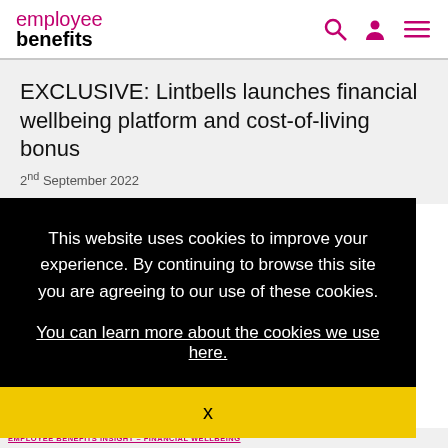employee benefits
EXCLUSIVE: Lintbells launches financial wellbeing platform and cost-of-living bonus
2nd September 2022
This website uses cookies to improve your experience. By continuing to browse this site you are agreeing to our use of these cookies.
You can learn more about the cookies we use here.
X
EMPLOYEE BENEFITS INSIGHT – FINANCIAL WELLBEING